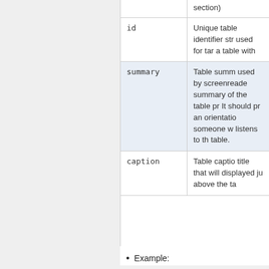| Attribute | Description |
| --- | --- |
|  | section) |
| id | Unique table identifier string used for targeting a table with |
| summary | Table summary used by screenreaders summary of the table pr It should pro an orientatio someone w listens to th table. |
| caption | Table captio title that will displayed ju above the ta |
Example: